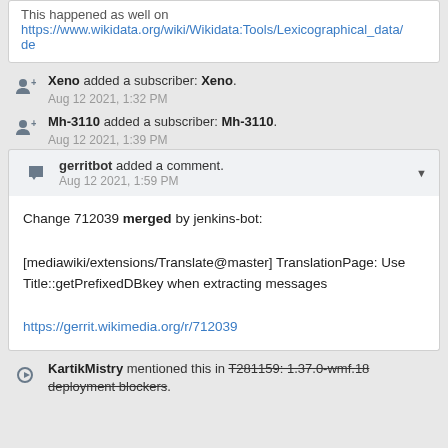This happened as well on https://www.wikidata.org/wiki/Wikidata:Tools/Lexicographical_data/de
Xeno added a subscriber: Xeno. Aug 12 2021, 1:32 PM
Mh-3110 added a subscriber: Mh-3110. Aug 12 2021, 1:39 PM
gerritbot added a comment. Aug 12 2021, 1:59 PM
Change 712039 merged by jenkins-bot:

[mediawiki/extensions/Translate@master] TranslationPage: Use Title::getPrefixedDBkey when extracting messages

https://gerrit.wikimedia.org/r/712039
KartikMistry mentioned this in T281159: 1.37.0-wmf.18 deployment blockers.